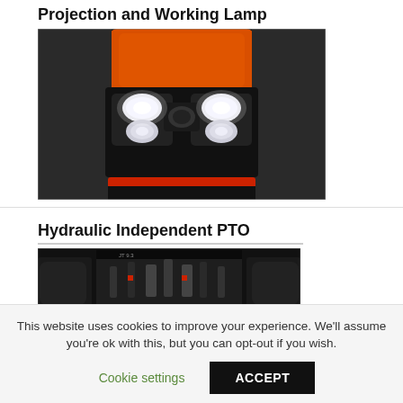Projection and Working Lamp
[Figure (photo): Front view of an orange tractor showing dual projection headlamps/working lamps illuminated, with the tractor hood and grille visible.]
Hydraulic Independent PTO
[Figure (photo): Rear underside view of a tractor showing the hydraulic independent PTO mechanism and rear axle components.]
This website uses cookies to improve your experience. We'll assume you're ok with this, but you can opt-out if you wish.
Cookie settings   ACCEPT